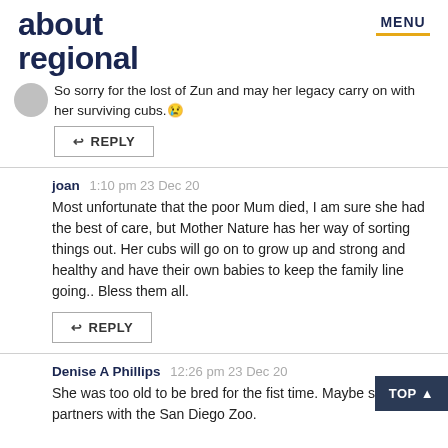about regional | MENU
So sorry for the lost of Zun and may her legacy carry on with her surviving cubs.😢
REPLY
joan 1:10 pm 23 Dec 20
Most unfortunate that the poor Mum died, I am sure she had the best of care, but Mother Nature has her way of sorting things out. Her cubs will go on to grow up and strong and healthy and have their own babies to keep the family line going.. Bless them all.
REPLY
Denise A Phillips 12:26 pm 23 Dec 20
She was too old to be bred for the fist time. Maybe should be partners with the San Diego Zoo.